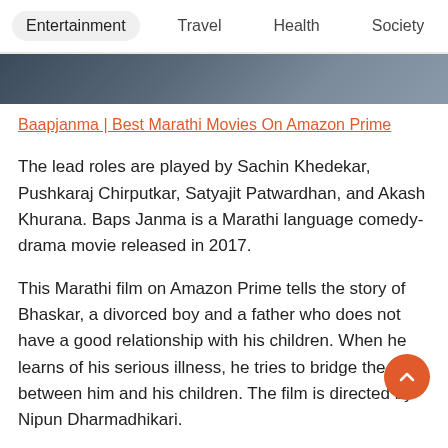Entertainment  Travel  Health  Society  B
[Figure (photo): Partial photograph visible at top of content area, dark tones]
Baapjanma | Best Marathi Movies On Amazon Prime
The lead roles are played by Sachin Khedekar, Pushkaraj Chirputkar, Satyajit Patwardhan, and Akash Khurana. Baps Janma is a Marathi language comedy-drama movie released in 2017.
This Marathi film on Amazon Prime tells the story of Bhaskar, a divorced boy and a father who does not have a good relationship with his children. When he learns of his serious illness, he tries to bridge the gap between him and his children. The film is directed by Nipun Dharmadhikari.